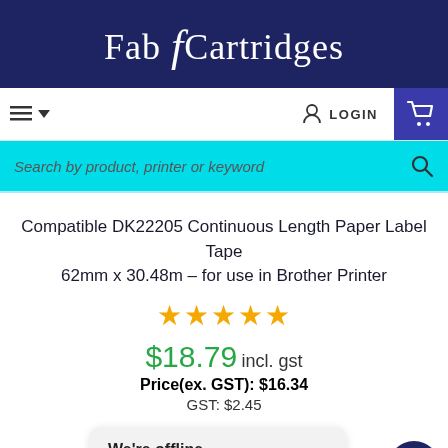Fab Cartridges
[Figure (screenshot): Navigation bar with hamburger menu, LOGIN button, and shopping cart icon]
[Figure (screenshot): Search bar with placeholder text 'Search by product, printer or keyword' and search icon]
Compatible DK22205 Continuous Length Paper Label Tape 62mm x 30.48m – for use in Brother Printer
[Figure (other): 5 gold star rating]
$18.79 incl. gst
Price(ex. GST): $16.34
GST: $2.45
We're offline
Leave a message